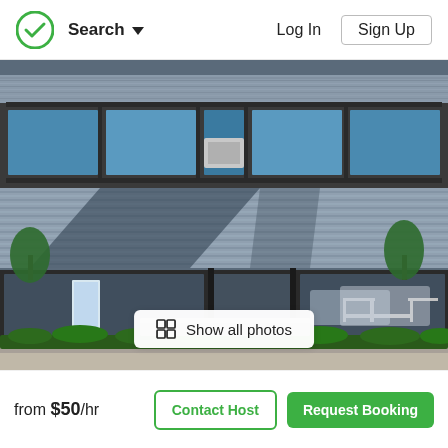Search  Log In  Sign Up
[Figure (photo): Exterior photo of a modern commercial office building with corrugated metal facade, large glass windows, trees out front, and outdoor seating. A shadow pattern is cast on the building. A banner stand is visible inside the glass entrance.]
Show all photos
from $50/hr  Contact Host  Request Booking